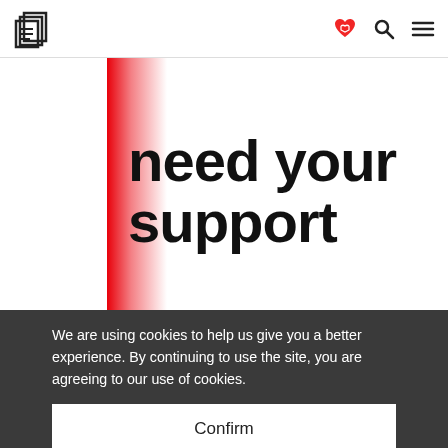Logo and navigation icons
[Figure (illustration): Hero image with large bold text 'need your support' on white background with red gradient bar on left side]
We are using cookies to help us give you a better experience. By continuing to use the site, you are agreeing to our use of cookies.
Confirm